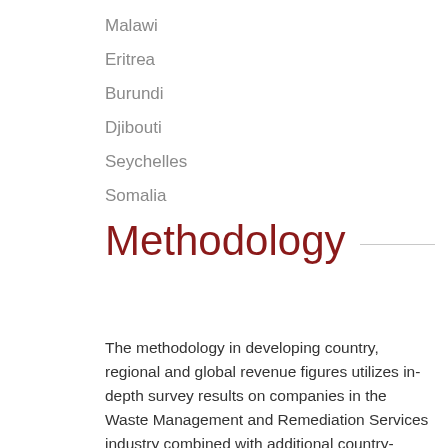Malawi
Eritrea
Burundi
Djibouti
Seychelles
Somalia
Methodology
The methodology in developing country, regional and global revenue figures utilizes in-depth survey results on companies in the Waste Management and Remediation Services industry combined with additional country-specific metadata. Forecasts are based on proprietary econometric models